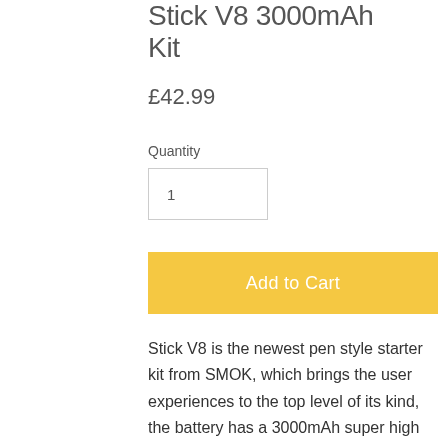Stick V8 3000mAh Kit
£42.99
Quantity
1
Add to Cart
Stick V8 is the newest pen style starter kit from SMOK, which brings the user experiences to the top level of its kind, the battery has a 3000mAh super high capacity and 20amps continious discharge capability, while its tank is the famous TFV8 big baby tank which is